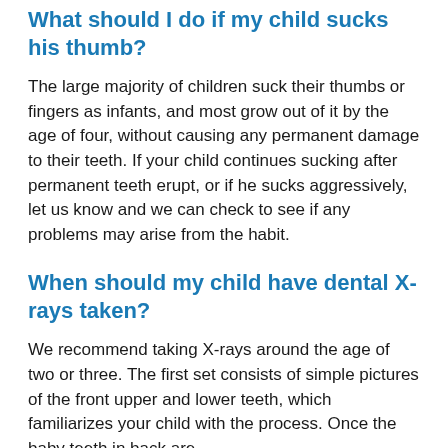What should I do if my child sucks his thumb?
The large majority of children suck their thumbs or fingers as infants, and most grow out of it by the age of four, without causing any permanent damage to their teeth. If your child continues sucking after permanent teeth erupt, or if he sucks aggressively, let us know and we can check to see if any problems may arise from the habit.
When should my child have dental X-rays taken?
We recommend taking X-rays around the age of two or three. The first set consists of simple pictures of the front upper and lower teeth, which familiarizes your child with the process. Once the baby teeth in back are